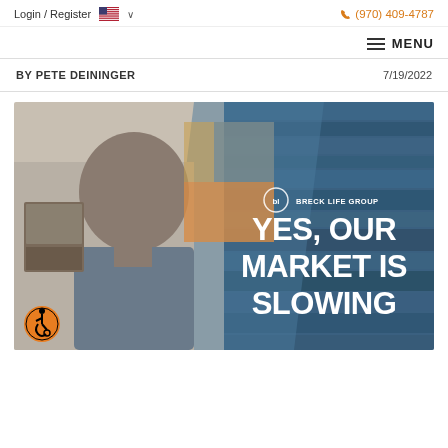Login / Register  🇺🇸 ∨    (970) 409-4787
≡ MENU
BY PETE DEININGER    7/19/2022
[Figure (photo): Photo of Pete Deininger with Breck Life Group branded overlay reading YES, OUR MARKET IS SLOWING]